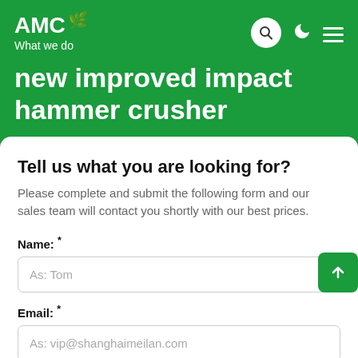AMC — What we do
new improved impact hammer crusher
Tell us what you are looking for?
Please complete and submit the following form and our sales team will contact you shortly with our best prices.
Name: *
As: Tom
Email: *
As: vip@shanghaimeilan.com
Phone: *